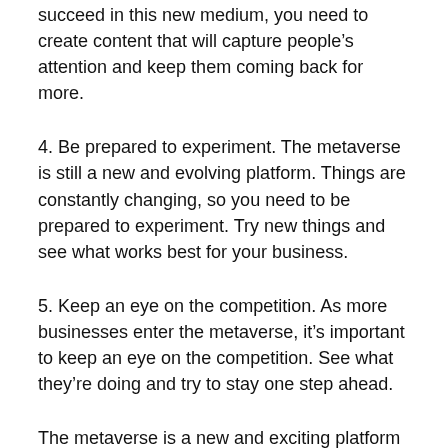succeed in this new medium, you need to create content that will capture people's attention and keep them coming back for more.
4. Be prepared to experiment. The metaverse is still a new and evolving platform. Things are constantly changing, so you need to be prepared to experiment. Try new things and see what works best for your business.
5. Keep an eye on the competition. As more businesses enter the metaverse, it's important to keep an eye on the competition. See what they're doing and try to stay one step ahead.
The metaverse is a new and exciting platform with a lot of potentials. If you want to use the metaverse for marketing, you need to make sure you're prepared